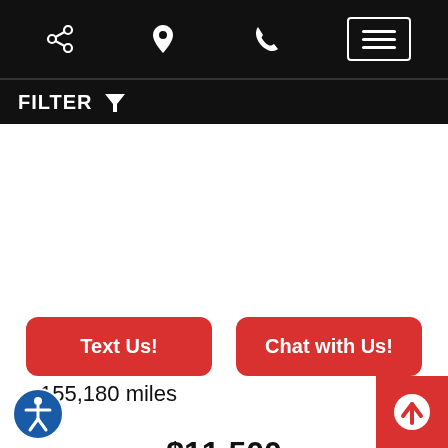Navigation bar with share, location, phone, and menu icons
FILTER
2011 ford edge
3.0L Auto s 4WD
155,180 miles
$11,500
Text Us!
Chat with Us!